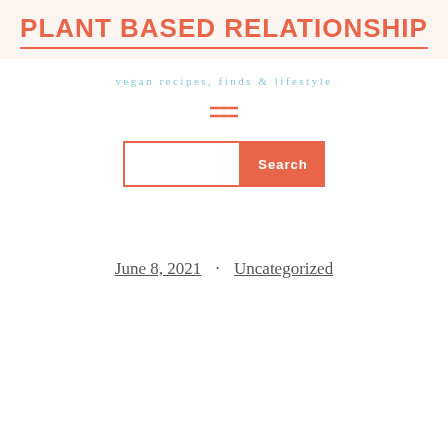PLANT BASED RELATIONSHIP
vegan recipes, finds & lifestyle
[Figure (other): Hamburger menu icon — two horizontal orange lines]
[Figure (other): Search bar with text input box and orange Search button]
June 8, 2021 · Uncategorized